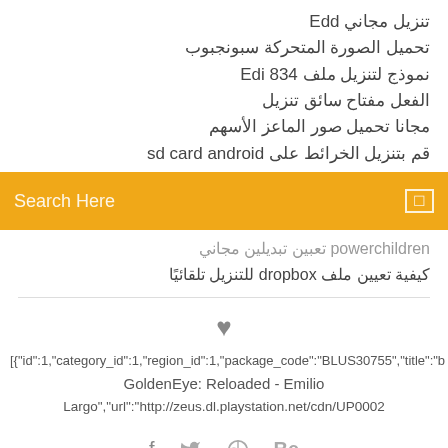تنزيل مجاني Edd
تحميل الصورة المتحركة سبونجبوب
نموذج لتنزيل ملف Edi 834
الفعل مفتاح سائق تنزيل
مجانا تحميل صور الماعز الأسهم
قم بتنزيل الخرائط على sd card android
[Figure (screenshot): Orange search bar with placeholder text 'Search Here' and a small icon on the right]
powerchildren تعبين تبديلين مجاني
كيفية تعيين ملف dropbox للتنزيل تلقائيًا
[Figure (other): Heart icon symbol]
[{"id":1,"category_id":1,"region_id":1,"package_code":"BLUS30755","title":"b
GoldenEye: Reloaded - Emilio
Largo","url":"http://zeus.dl.playstation.net/cdn/UP0002
[Figure (other): Social media icons: Facebook (f), Twitter (bird), Dribbble, Behance (Be)]